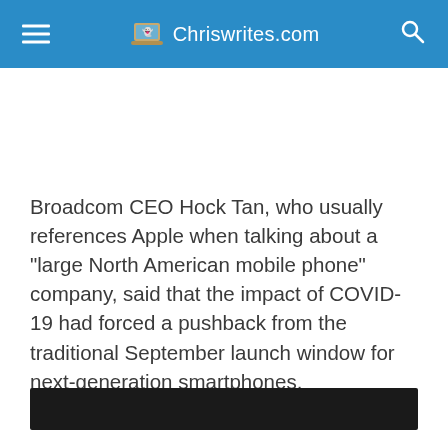Chriswrites.com
Broadcom CEO Hock Tan, who usually references Apple when talking about a “large North American mobile phone” company, said that the impact of COVID-19 had forced a pushback from the traditional September launch window for next-generation smartphones.
[Figure (photo): Dark media player or video embed bar at the bottom of the article content area.]